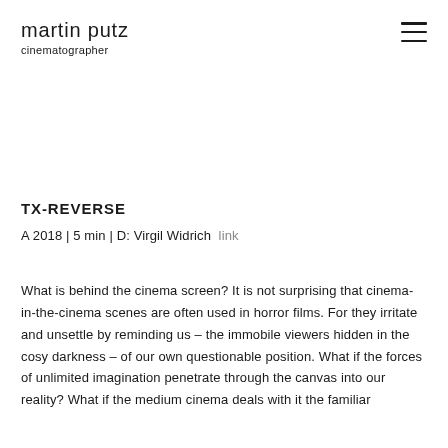martin putz
cinematographer
TX-REVERSE
A 2018 | 5 min | D: Virgil Widrich  link
What is behind the cinema screen? It is not surprising that cinema-in-the-cinema scenes are often used in horror films. For they irritate and unsettle by reminding us – the immobile viewers hidden in the cosy darkness – of our own questionable position. What if the forces of unlimited imagination penetrate through the canvas into our reality? What if the medium cinema deals with it the familiar...